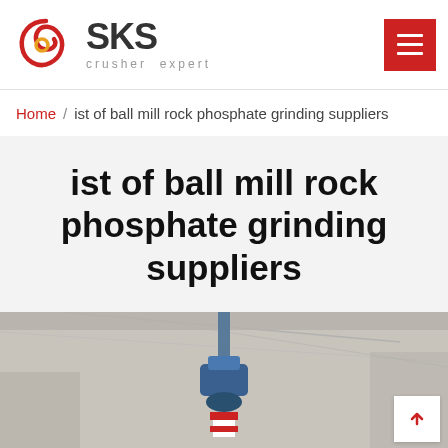SKS crusher expert
Home / ist of ball mill rock phosphate grinding suppliers
ist of ball mill rock phosphate grinding suppliers
[Figure (photo): Industrial machinery hanging from ceiling in a warehouse or factory, showing a blue mechanical component with red and white striped safety markings below it]